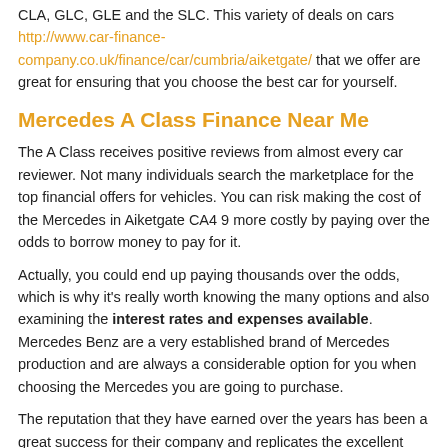CLA, GLC, GLE and the SLC. This variety of deals on cars http://www.car-finance-company.co.uk/finance/car/cumbria/aiketgate/ that we offer are great for ensuring that you choose the best car for yourself.
Mercedes A Class Finance Near Me
The A Class receives positive reviews from almost every car reviewer. Not many individuals search the marketplace for the top financial offers for vehicles. You can risk making the cost of the Mercedes in Aiketgate CA4 9 more costly by paying over the odds to borrow money to pay for it.
Actually, you could end up paying thousands over the odds, which is why it's really worth knowing the many options and also examining the interest rates and expenses available. Mercedes Benz are a very established brand of Mercedes production and are always a considerable option for you when choosing the Mercedes you are going to purchase.
The reputation that they have earned over the years has been a great success for their company and replicates the excellent quality of care. All deals will be fully authorised and regulated by the